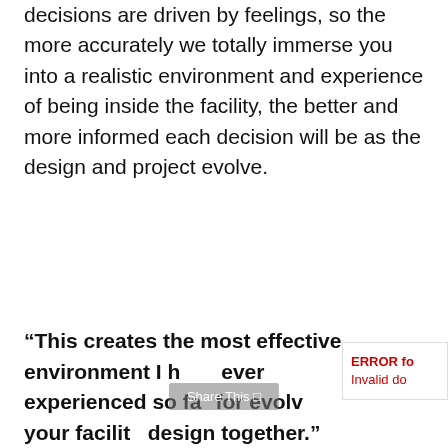decisions are driven by feelings, so the more accurately we totally immerse you into a realistic environment and experience of being inside the facility, the better and more informed each decision will be as the design and project evolve.
“This creates the most effective environment I have ever experienced so far for evolving your facility design together.”